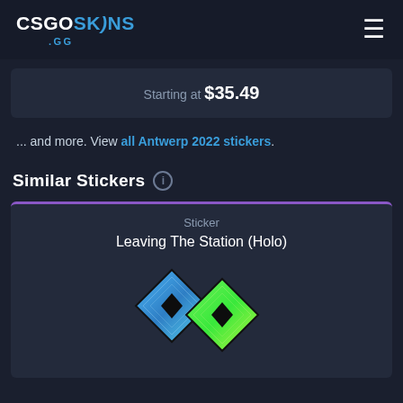CSGOSKINS.GG
Starting at $35.49
... and more. View all Antwerp 2022 stickers.
Similar Stickers
Sticker
Leaving The Station (Holo)
[Figure (illustration): Sticker image: Leaving The Station (Holo) - two overlapping diamond shapes with blue-to-green holographic gradient pattern and black cutout diamond centers]